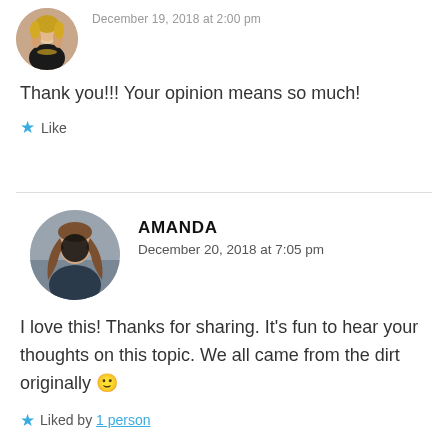[Figure (photo): Circular avatar photo of a woman with blonde hair and gold necklace, partially cropped at top]
December 19, 2018 at 2:00 pm (partially visible)
Thank you!!! Your opinion means so much!
Like
[Figure (photo): Circular avatar photo of a woman with long brown hair wearing a dark top, face obscured]
AMANDA
December 20, 2018 at 7:05 pm
I love this! Thanks for sharing. It's fun to hear your thoughts on this topic. We all came from the dirt originally 🙂
Liked by 1 person